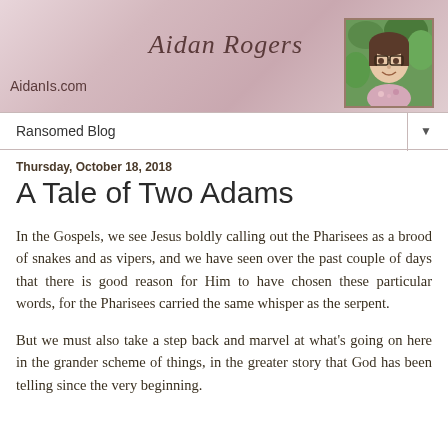Aidan Rogers
AidanIs.com
[Figure (photo): Profile photo of a woman with glasses, smiling, outdoors with green foliage background]
Ransomed Blog
Thursday, October 18, 2018
A Tale of Two Adams
In the Gospels, we see Jesus boldly calling out the Pharisees as a brood of snakes and as vipers, and we have seen over the past couple of days that there is good reason for Him to have chosen these particular words, for the Pharisees carried the same whisper as the serpent.
But we must also take a step back and marvel at what's going on here in the grander scheme of things, in the greater story that God has been telling since the very beginning.